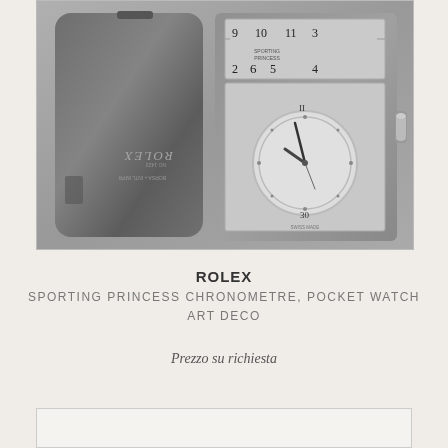[Figure (photo): Black and white photograph of an open Rolex Sporting Princess Chronometre pocket watch Art Deco. The left panel shows the back of the silver case with engraving and ROLEX text. The right panel shows the open face with a rectangular display showing numbers and a circular clock dial with hands.]
ROLEX
SPORTING PRINCESS CHRONOMETRE, POCKET WATCH ART DECO
Prezzo su richiesta